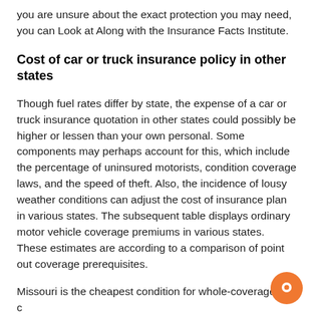you are unsure about the exact protection you may need, you can Look at Along with the Insurance Facts Institute.
Cost of car or truck insurance policy in other states
Though fuel rates differ by state, the expense of a car or truck insurance quotation in other states could possibly be higher or lessen than your own personal. Some components may perhaps account for this, which include the percentage of uninsured motorists, condition coverage laws, and the speed of theft. Also, the incidence of lousy weather conditions can adjust the cost of insurance plan in various states. The subsequent table displays ordinary motor vehicle coverage premiums in various states. These estimates are according to a comparison of point out coverage prerequisites.
Missouri is the cheapest condition for whole-coverage car insurance, spending just $944 fewer than Louisiana. Also